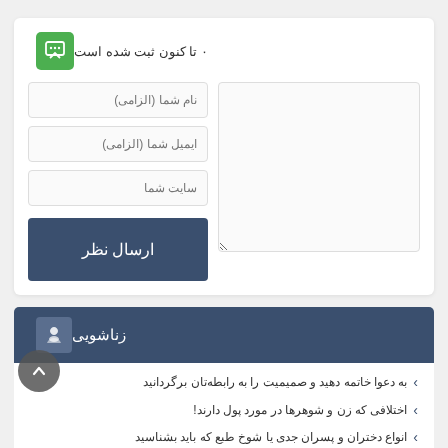۰ تا کنون ثبت شده است
نام شما (الزامی)
ایمیل شما (الزامی)
سایت شما
ارسال نظر
زناشویی
به دعوا خاتمه دهید و صمیمیت را به رابطه‌تان برگردانید
اختلافی که زن و شوهرها در مورد پول دارند!
...